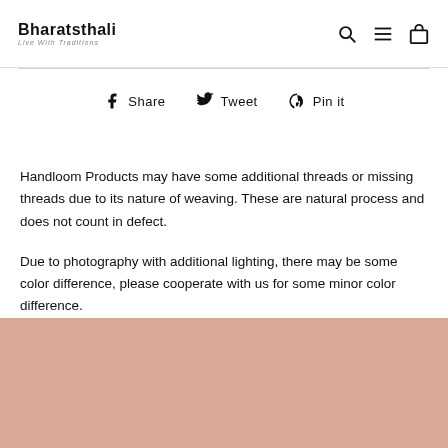Bharatsthali
Live With Traditions
Share   Tweet   Pin it
Handloom Products may have some additional threads or missing threads due to its nature of weaving. These are natural process and does not count in defect.
Due to photography with additional lighting, there may be some color difference, please cooperate with us for some minor color difference.
[Figure (photo): Salmon/rose colored background section at bottom of page]